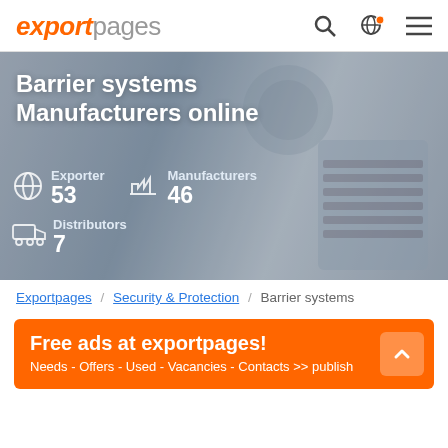exportpages
[Figure (screenshot): Hero image showing Barrier systems Manufacturers online page with stats: Exporter 53, Manufacturers 46, Distributors 7, over a blurred industrial background]
Barrier systems Manufacturers online
Exporter 53  Manufacturers 46  Distributors 7
Exportpages / Security & Protection / Barrier systems
Free ads at exportpages! Needs - Offers - Used - Vacancies - Contacts >> publish here